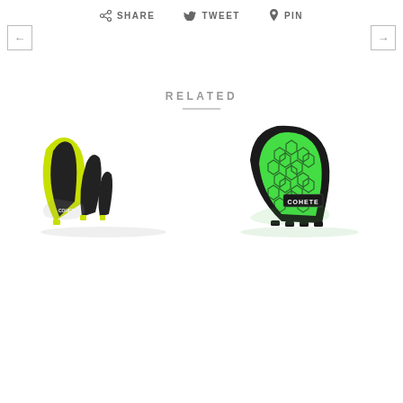SHARE  TWEET  PIN
← →
RELATED
[Figure (photo): Yellow and black surfboard tri-fin set by Cohete brand, shown from the side with reflections below]
[Figure (photo): Single surfboard fin by Cohete brand, black with green honeycomb pattern insert, shown from the side with reflections below]